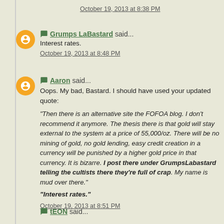October 19, 2013 at 8:38 PM
Grumps LaBastard said...
Interest rates.
October 19, 2013 at 8:48 PM
Aaron said...
Oops. My bad, Bastard. I should have used your updated quote:
"Then there is an alternative site the FOFOA blog. I don't recommend it anymore. The thesis there is that gold will stay external to the system at a price of 55,000/oz. There will be no mining of gold, no gold lending, easy credit creation in a currency will be punished by a higher gold price in that currency. It is bizarre. I post there under GrumpsLabastard telling the cultists there they're full of crap. My name is mud over there."
"Interest rates."
October 19, 2013 at 8:51 PM
tEON said...